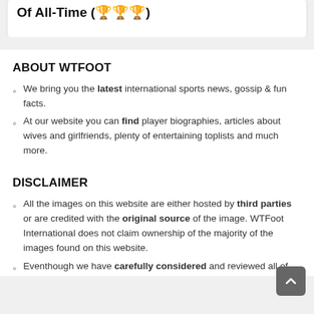Of All-Time (🏆🏆🏆)
ABOUT WTFOOT
We bring you the latest international sports news, gossip & fun facts.
At our website you can find player biographies, articles about wives and girlfriends, plenty of entertaining toplists and much more.
DISCLAIMER
All the images on this website are either hosted by third parties or are credited with the original source of the image. WTFoot International does not claim ownership of the majority of the images found on this website.
Eventhough we have carefully considered and reviewed all of